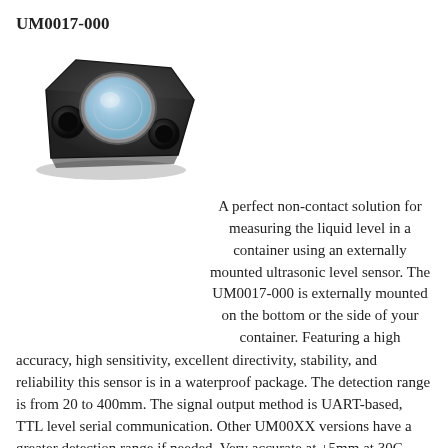UM0017-000
[Figure (photo): Photo of the UM0017-000 ultrasonic level sensor – a black hexagonal/trapezoidal shaped device with a circular white/grey transducer face and two circular holes on the sides.]
A perfect non-contact solution for measuring the liquid level in a container using an externally mounted ultrasonic level sensor. The UM0017-000 is externally mounted on the bottom or the side of your container. Featuring a high accuracy, high sensitivity, excellent directivity, stability, and reliability this sensor is in a waterproof package. The detection range is from 20 to 400mm. The signal output method is UART-based, TTL level serial communication. Other UM00XX versions have a greater detection range if needed. Very accurate at +5mm at 30C. Works on tank material ranging from ABS, PP, PMMA, steel, brass, etc.
UM0017-000 Product Specification_2-2018.pdf